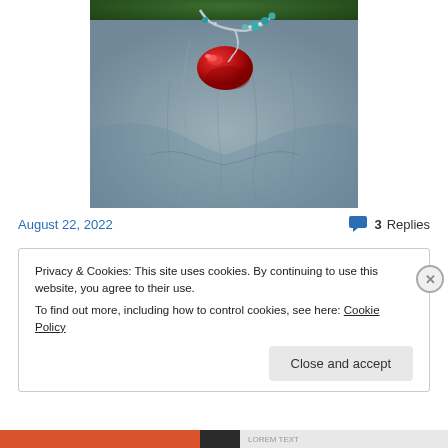[Figure (photo): Close-up photo of a person wearing a gray/blue garment with a decorative brooch featuring a red oval/cherry-shaped pendant and turquoise beads on a silver branch-like setting]
August 22, 2022
3 Replies
Privacy & Cookies: This site uses cookies. By continuing to use this website, you agree to their use.
To find out more, including how to control cookies, see here: Cookie Policy